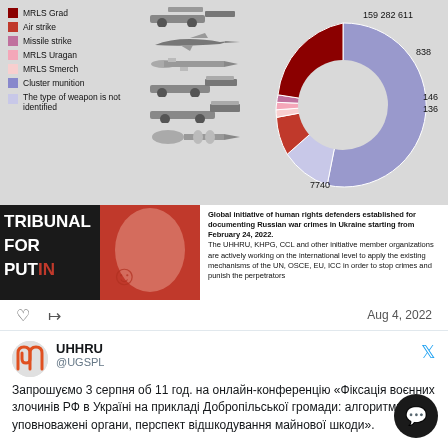[Figure (pie-chart): Weapon types used in attacks on Ukraine]
[Figure (infographic): Tribunal for Putin - Global initiative of human rights defenders established for documenting Russian war crimes in Ukraine starting from February 24, 2022. The UHHRU, KHPG, CCL and other initiative member organizations are actively working on the international level to apply the existing mechanisms of the UN, OSCE, EU, ICC in order to stop crimes and punish the perpetrators.]
Aug 4, 2022
UHHRU @UGSPL
Запрошуємо 3 серпня об 11 год. на онлайн-конференцію «Фіксація воєнних злочинів РФ в Україні на прикладі Добропільської громади: алгоритми дій, уповноважені органи, перспективи відшкодування майнової шкоди».